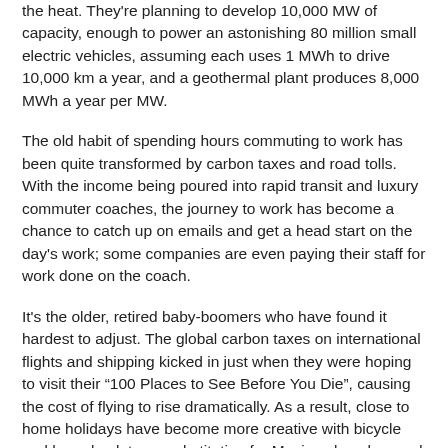the heat. They're planning to develop 10,000 MW of capacity, enough to power an astonishing 80 million small electric vehicles, assuming each uses 1 MWh to drive 10,000 km a year, and a geothermal plant produces 8,000 MWh a year per MW.
The old habit of spending hours commuting to work has been quite transformed by carbon taxes and road tolls. With the income being poured into rapid transit and luxury commuter coaches, the journey to work has become a chance to catch up on emails and get a head start on the day's work; some companies are even paying their staff for work done on the coach.
It's the older, retired baby-boomers who have found it hardest to adjust. The global carbon taxes on international flights and shipping kicked in just when they were hoping to visit their “100 Places to See Before You Die”, causing the cost of flying to rise dramatically. As a result, close to home holidays have become more creative with bicycle and horseback tours substituting for Mexican beaches and Mayan ruins.